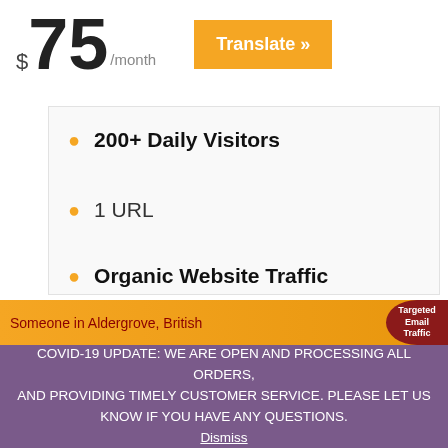$75/month
Translate »
200+ Daily Visitors
1 URL
Organic Website Traffic
Real IP Address
Traffic from Search Engines
Someone in Aldergrove, British
Targeted Email Traffic
COVID-19 UPDATE: WE ARE OPEN AND PROCESSING ALL ORDERS, AND PROVIDING TIMELY CUSTOMER SERVICE. PLEASE LET US KNOW IF YOU HAVE ANY QUESTIONS. Dismiss